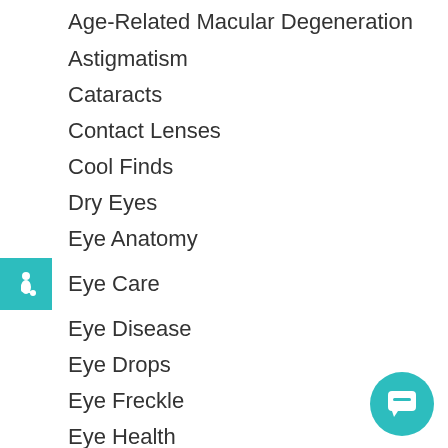Age-Related Macular Degeneration
Astigmatism
Cataracts
Contact Lenses
Cool Finds
Dry Eyes
Eye Anatomy
Eye Care
Eye Disease
Eye Drops
Eye Freckle
Eye Health
Eye Protection
Fashion
Featured